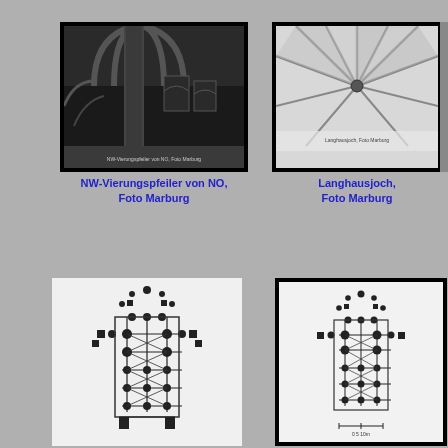[Figure (photo): Black and white photograph of NW-Vierungspfeiler (crossing pier) viewed from NE, showing Gothic interior with pointed arches and columns, Foto Marburg]
NW-Vierungspfeiler von NO,
Foto Marburg
[Figure (photo): Black and white photograph of Langhausjoch (nave bay) showing Gothic ribbed vault ceiling, Foto Marburg]
Langhausjoch,
Foto Marburg
[Figure (photo): Partially visible black and white photograph at right edge of page]
[Figure (engineering-diagram): Architectural floor plan of Gothic church showing nave, transept, choir and chapels with column positions marked as filled circles]
[Figure (engineering-diagram): Architectural floor plan of Gothic church (framed version) showing nave, transept, choir and chapels with column grid]